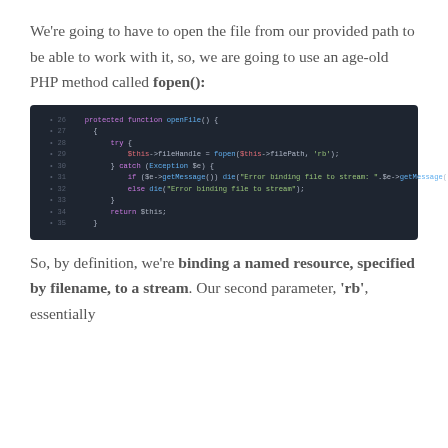We're going to have to open the file from our provided path to be able to work with it, so, we are going to use an age-old PHP method called fopen():
[Figure (screenshot): Dark-themed code editor screenshot showing PHP code for a protected function openFile() with fopen(), try/catch block, and return statement.]
So, by definition, we're binding a named resource, specified by filename, to a stream. Our second parameter, 'rb', essentially